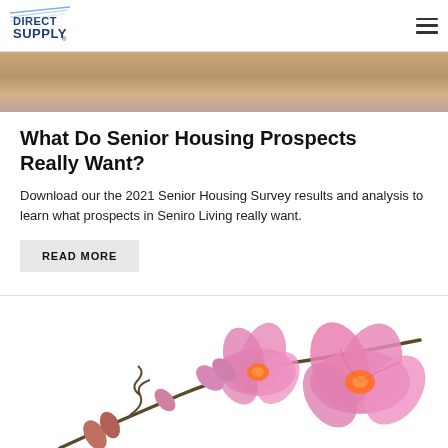Direct Supply [logo] [hamburger menu]
[Figure (photo): Partial photo of people (cropped, warm skin tones visible at top of page)]
What Do Senior Housing Prospects Really Want?
Download our the 2021 Senior Housing Survey results and analysis to learn what prospects in Seniro Living really want.
READ MORE
[Figure (photo): Pink orchid flowers on a branch against a white background]